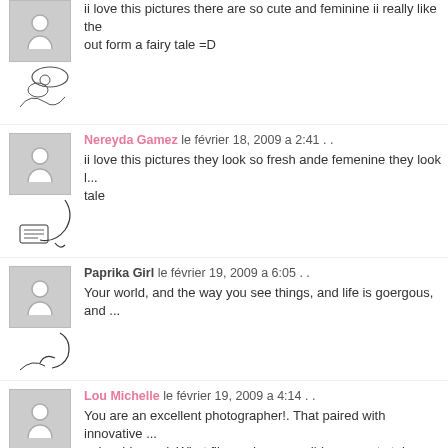ii love this pictures there are so cute and feminine ii really like the out form a fairy tale =D
Nereyda Gamez le février 18, 2009 a 2:41 . .
ii love this pictures they look so fresh ande femenine they look l... tale
Paprika Girl le février 19, 2009 a 6:05 . .
Your world, and the way you see things, and life is goergous, and ...
Lou Michelle le février 19, 2009 a 4:14 . .
You are an excellent photographer!. That paired with innovative ... enjoyable read. What film and camera did you use to take these ph...
Cerises Et Fraises le février 21, 2009 a 7:39 . .
Le sac coeur est-il encore sur le site Topshop, je ne l'avais pas trou...